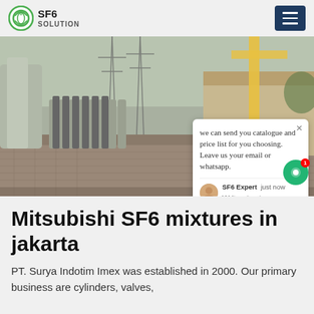SF6 SOLUTION
[Figure (photo): Industrial electrical substation with rows of gas cylinders and heavy equipment. A chat popup overlay reads: 'we can send you catalogue and price list for you choosing. Leave us your email or whatsapp.' with SF6 Expert avatar and 'just now' timestamp. A green chat bubble with notification badge '1' is visible at bottom right.]
Mitsubishi SF6 mixtures in jakarta
PT. Surya Indotim Imex was established in 2000. Our primary business are cylinders, valves,